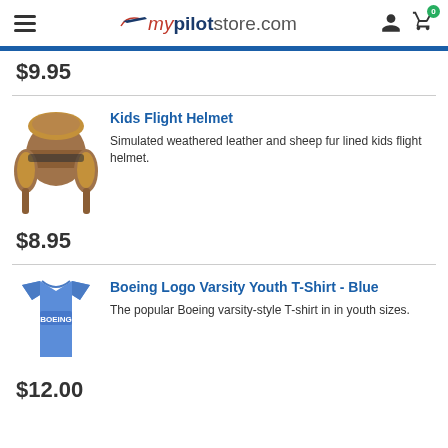mypilotstore.com
$9.95
[Figure (photo): Kids Flight Helmet - simulated weathered leather with sheep fur lining]
Kids Flight Helmet
Simulated weathered leather and sheep fur lined kids flight helmet.
$8.95
[Figure (photo): Boeing Logo Varsity Youth T-Shirt in Blue]
Boeing Logo Varsity Youth T-Shirt - Blue
The popular Boeing varsity-style T-shirt in in youth sizes.
$12.00